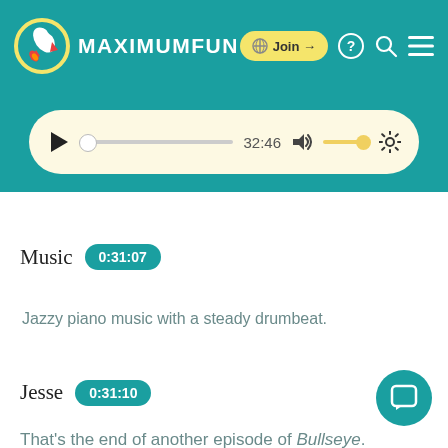MAXIMUMFUN
[Figure (screenshot): Audio player with play button, progress bar, time 32:46, volume control, and settings gear icon on a cream/yellow background]
Music  0:31:07
Jazzy piano music with a steady drumbeat.
Jesse  0:31:10
That's the end of another episode of Bullseye. Bullseye